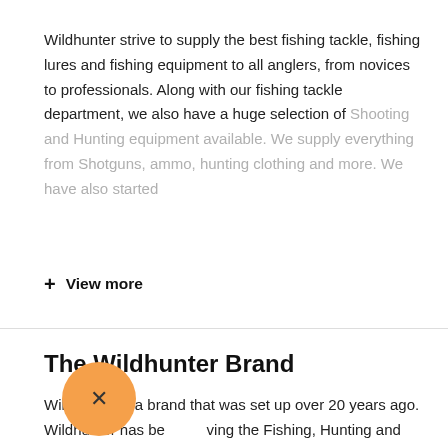Wildhunter strive to supply the best fishing tackle, fishing lures and fishing equipment to all anglers, from novices to professionals. Along with our fishing tackle department, we also have a huge selection of Shooting and Hunting equipment available. We supply everything from Shotguns, ammo, hunting clothing and more. We have also started
+ View more
The Wildhunter Brand
Wildhunter is a brand that was set up over 20 years ago. Wildhunter has been serving the Fishing, Hunting and Outdoor sports communities for two decades and we are still growing. We have Five Main departments that we have a large selection of products in.
[Figure (other): Orange circular close button with X symbol]